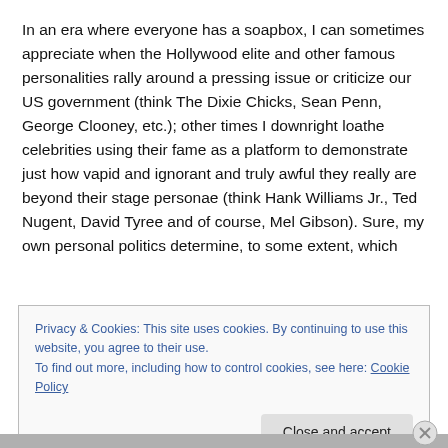In an era where everyone has a soapbox, I can sometimes appreciate when the Hollywood elite and other famous personalities rally around a pressing issue or criticize our US government (think The Dixie Chicks, Sean Penn, George Clooney, etc.); other times I downright loathe celebrities using their fame as a platform to demonstrate just how vapid and ignorant and truly awful they really are beyond their stage personae (think Hank Williams Jr., Ted Nugent, David Tyree and of course, Mel Gibson). Sure, my own personal politics determine, to some extent, which
Privacy & Cookies: This site uses cookies. By continuing to use this website, you agree to their use.
To find out more, including how to control cookies, see here: Cookie Policy